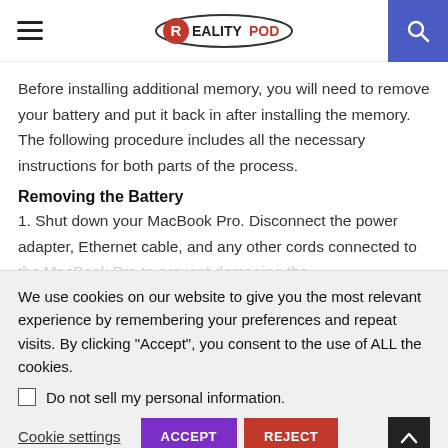RealityPod
Before installing additional memory, you will need to remove your battery and put it back in after installing the memory. The following procedure includes all the necessary instructions for both parts of the process.
Removing the Battery
1. Shut down your MacBook Pro. Disconnect the power adapter, Ethernet cable, and any other cords connected to the MacBook Pro to prevent damaging the
We use cookies on our website to give you the most relevant experience by remembering your preferences and repeat visits. By clicking “Accept”, you consent to the use of ALL the cookies.
Do not sell my personal information.
Cookie settings  ACCEPT  REJECT